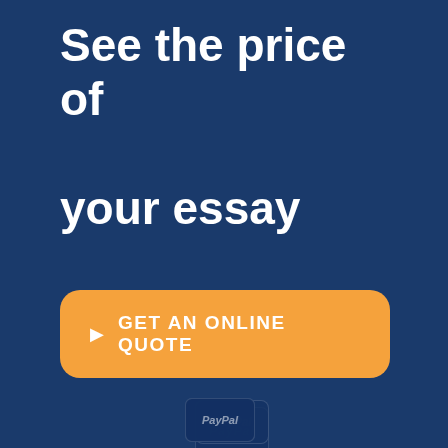See the price of your essay
▶ GET AN ONLINE QUOTE
[Figure (logo): PayPal payment logo badge]
[Figure (logo): Mastercard payment logo badge]
[Figure (logo): Visa payment logo badge]